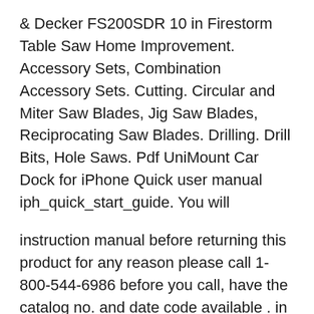& Decker FS200SDR 10 in Firestorm Table Saw Home Improvement. Accessory Sets, Combination Accessory Sets. Cutting. Circular and Miter Saw Blades, Jig Saw Blades, Reciprocating Saw Blades. Drilling. Drill Bits, Hole Saws. Pdf UniMount Car Dock for iPhone Quick user manual iph_quick_start_guide. You will
instruction manual before returning this product for any reason please call 1-800-544-6986 before you call, have the catalog no. and date code available . in mostcases, a black & decker r e p r e s e n tative can resolve the problem over the phone. if you hav e asuggestion or comment, give us acall. your feedback is vita lto black & decker.